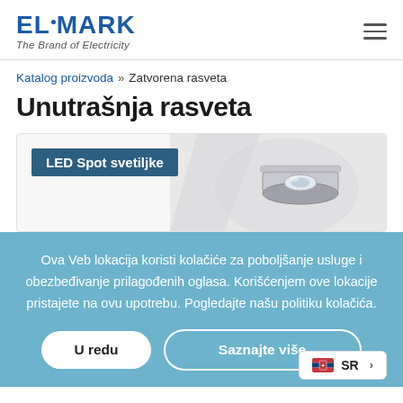[Figure (logo): Elmark logo - 'The Brand of Electricity']
Katalog proizvoda » Zatvorena rasveta
Unutrašnja rasveta
[Figure (photo): LED Spot svetiljke product card with a chrome spot light fixture image]
Ova Veb lokacija koristi kolačiće za poboljšanje usluge i obezbeđivanje prilagođenih oglasa. Korišćenjem ove lokacije pristajete na ovu upotrebu. Pogledajte našu politiku kolačića.
U redu
Saznajte više
SR